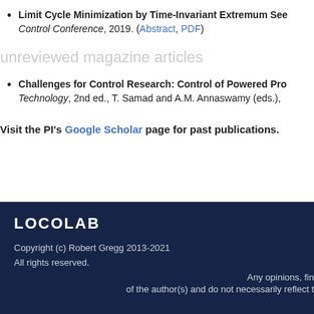Limit Cycle Minimization by Time-Invariant Extremum Seeking. American Control Conference, 2019. (Abstract, PDF)
unreviewed magazine articles
Challenges for Control Research: Control of Powered Prostheses. IEEE Control Systems Technology, 2nd ed., T. Samad and A.M. Annaswamy (eds.),
Visit the PI's Google Scholar page for past publications.
LOCOLAB
Copyright (c) Robert Gregg 2013-2021
All rights reserved.
Any opinions, findings of the author(s) and do not necessarily reflect